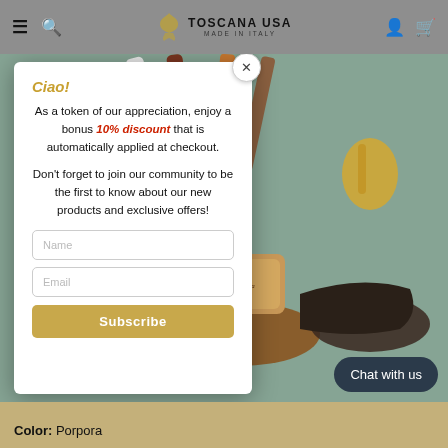TOSCANA USA | MADE IN ITALY
[Figure (screenshot): Popup modal overlay on a Toscana USA e-commerce website showing Italian leather shoes and belts on a teal background]
Ciao!
As a token of our appreciation, enjoy a bonus 10% discount that is automatically applied at checkout.
Don't forget to join our community to be the first to know about our new products and exclusive offers!
Name
Email
Subscribe
Chat with us
Color: Porpora